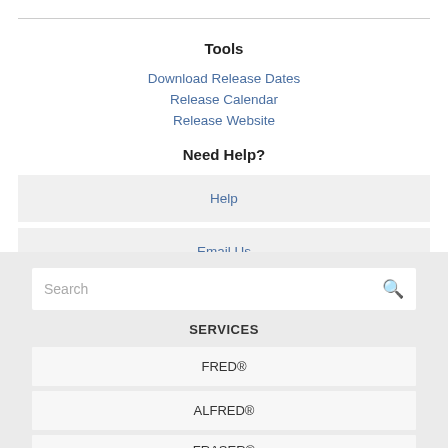Tools
Download Release Dates
Release Calendar
Release Website
Need Help?
Help
Email Us
Search
SERVICES
FRED®
ALFRED®
FRASER®